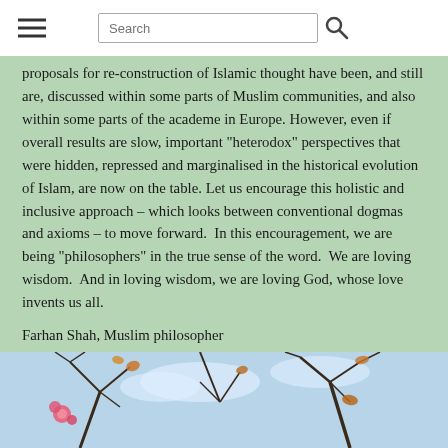Search
proposals for re-construction of Islamic thought have been, and still are, discussed within some parts of Muslim communities, and also within some parts of the academe in Europe. However, even if overall results are slow, important "heterodox" perspectives that were hidden, repressed and marginalised in the historical evolution of Islam, are now on the table. Let us encourage this holistic and inclusive approach – which looks between conventional dogmas and axioms – to move forward.  In this encouragement, we are being "philosophers" in the true sense of the word.  We are loving wisdom.  And in loving wisdom, we are loving God, whose love invents us all.
Farhan Shah, Muslim philosopher
[Figure (photo): Photograph of tree branches with pink flowers against a blue sky, with autumn leaves visible]